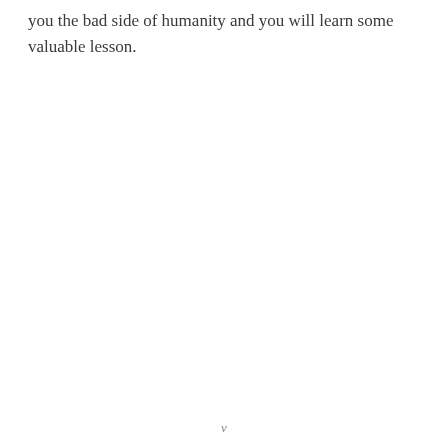you the bad side of humanity and you will learn some valuable lesson.
v